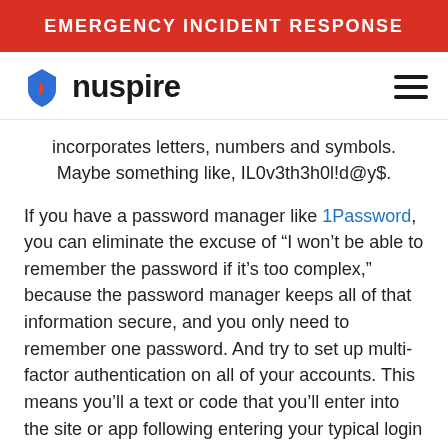EMERGENCY INCIDENT RESPONSE
[Figure (logo): Nuspire logo with blue shield/flame icon and wordmark 'nuspire', plus hamburger menu icon on the right]
incorporates letters, numbers and symbols. Maybe something like, IL0v3th3h0l!d@y$.
If you have a password manager like 1Password, you can eliminate the excuse of “I won’t be able to remember the password if it’s too complex,” because the password manager keeps all of that information secure, and you only need to remember one password. And try to set up multi-factor authentication on all of your accounts. This means you’ll a text or code that you’ll enter into the site or app following entering your typical login details. It takes a few extra seconds, but it’s worth it for the